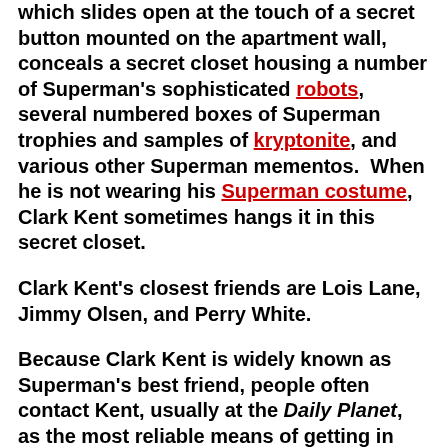which slides open at the touch of a secret button mounted on the apartment wall, conceals a secret closet housing a number of Superman's sophisticated robots, several numbered boxes of Superman trophies and samples of kryptonite, and various other Superman mementos.  When he is not wearing his Superman costume, Clark Kent sometimes hangs it in this secret closet.
Clark Kent's closest friends are Lois Lane, Jimmy Olsen, and Perry White.
Because Clark Kent is widely known as Superman's best friend, people often contact Kent, usually at the Daily Planet, as the most reliable means of getting in touch with Superman.
In January 1971, the president of the Galaxy Broadcasting System, which owns the Daily Planet, removed Clark Kent from the Planet staff and installed him as a full-time newscaster on